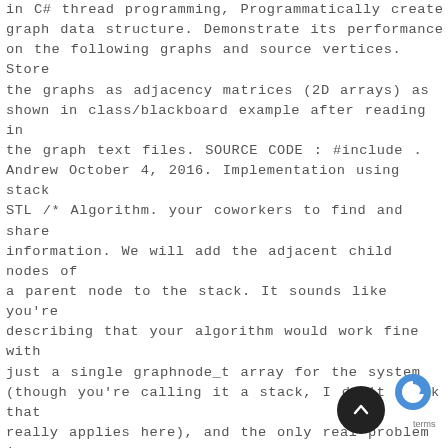in C# thread programming, Programmatically create graph data structure. Demonstrate its performance on the following graphs and source vertices. Store the graphs as adjacency matrices (2D arrays) as shown in class/blackboard example after reading in the graph text files. SOURCE CODE : #include . Andrew October 4, 2016. Implementation using stack STL /* Algorithm. your coworkers to find and share information. We will add the adjacent child nodes of a parent node to the stack. It sounds like you're describing that your algorithm would work fine with just a single graphnode_t array for the system (though you're calling it a stack, I don't think that really applies here), and the only real problem is you're not certain how large it should be when you begin. Take the top item of the stack and add it to the visited list. In the following code, I apply DFS algorithm to print the element of a Binary Search Tree in order in which just by traversing with
[Figure (logo): reCAPTCHA logo and terms overlay in bottom right corner]